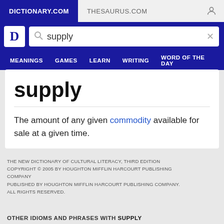DICTIONARY.COM | THESAURUS.COM
supply
The amount of any given commodity available for sale at a given time.
THE NEW DICTIONARY OF CULTURAL LITERACY, THIRD EDITION COPYRIGHT © 2005 BY HOUGHTON MIFFLIN HARCOURT PUBLISHING COMPANY PUBLISHED BY HOUGHTON MIFFLIN HARCOURT PUBLISHING COMPANY. ALL RIGHTS RESERVED.
OTHER IDIOMS AND PHRASES WITH SUPPLY